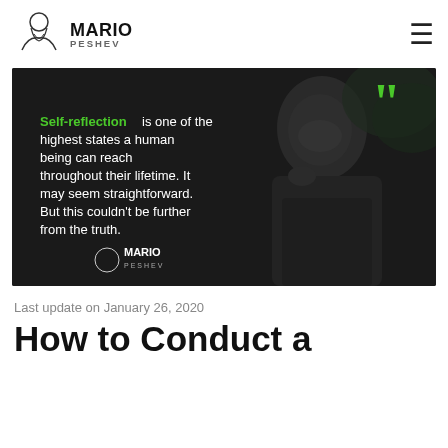Mario Peshev
[Figure (photo): Hero image with quote: 'Self-reflection is one of the highest states a human being can reach throughout their lifetime. It may seem straightforward. But this couldn't be further from the truth.' Mario Peshev branding overlay on dark background with man thinking.]
Last update on January 26, 2020
How to Conduct a Personal SWOT